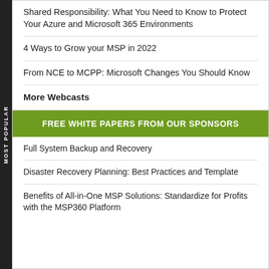Shared Responsibility: What You Need to Know to Protect Your Azure and Microsoft 365 Environments
4 Ways to Grow your MSP in 2022
From NCE to MCPP: Microsoft Changes You Should Know
More Webcasts
FREE WHITE PAPERS FROM OUR SPONSORS
Full System Backup and Recovery
Disaster Recovery Planning: Best Practices and Template
Benefits of All-in-One MSP Solutions: Standardize for Profits with the MSP360 Platform